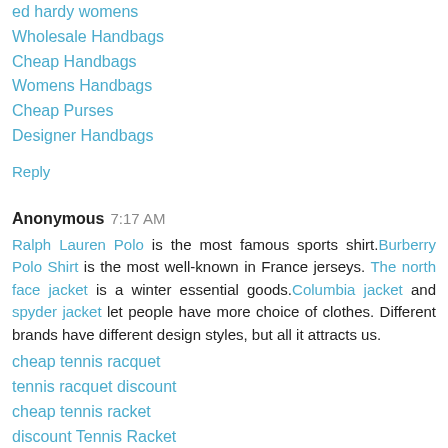ed hardy womens
Wholesale Handbags
Cheap Handbags
Womens Handbags
Cheap Purses
Designer Handbags
Reply
Anonymous  7:17 AM
Ralph Lauren Polo is the most famous sports shirt.Burberry Polo Shirt is the most well-known in France jerseys. The north face jacket is a winter essential goods.Columbia jacket and spyder jacket let people have more choice of clothes. Different brands have different design styles, but all it attracts us.
cheap tennis racquet
tennis racquet discount
cheap tennis racket
discount Tennis Racket
Reply